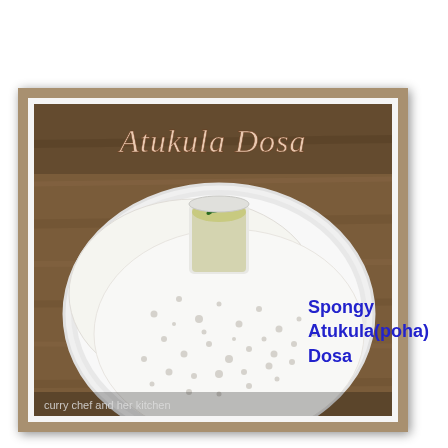[Figure (photo): A food photograph showing two round spongy dosas on a white plate with a small cup of chutney, on a wooden surface. Text overlay reads 'Atukula Dosa' at the top in decorative font. Watermark at bottom reads 'curry chef and her kitchen'.]
Spongy Atukula(poha) Dosa